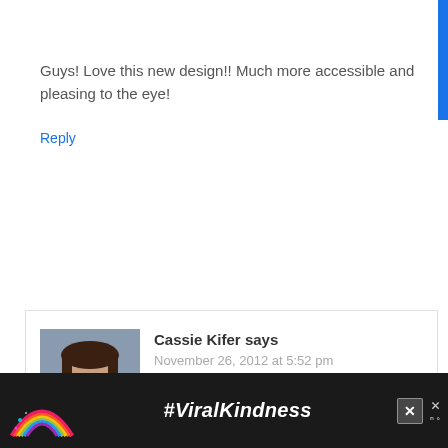Guys! Love this new design!! Much more accessible and pleasing to the eye!
Reply
[Figure (photo): Profile photo of Cassie Kifer, a woman with dark brown shoulder-length hair, wearing a denim jacket over a white top, arms crossed, smiling]
Cassie Kifer says
November 26, 2012 at 5:52 pm
[Figure (infographic): Ad banner with dark background showing a rainbow illustration on the left and the text '#ViralKindness' in white italic bold font, with close buttons on the right]